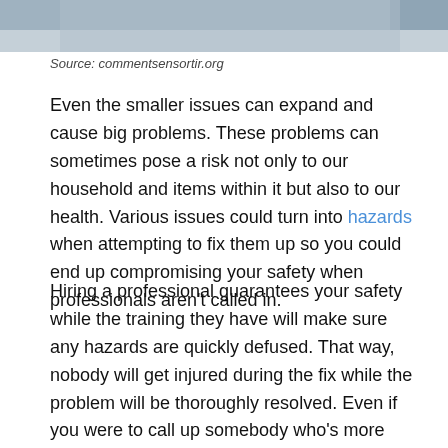[Figure (photo): Partial photo of a person at the top of the page, cropped]
Source: commentsensortir.org
Even the smaller issues can expand and cause big problems. These problems can sometimes pose a risk not only to our household and items within it but also to our health. Various issues could turn into hazards when attempting to fix them up so you could end up compromising your safety when professionals aren't called in.
Hiring a professional guarantees your safety while the training they have will make sure any hazards are quickly defused. That way, nobody will get injured during the fix while the problem will be thoroughly resolved. Even if you were to call up somebody who's more experienced but still unprofessional in doing household fixes, they could be in danger. So don't skimp out on proper professionals to avoid unsafe items.